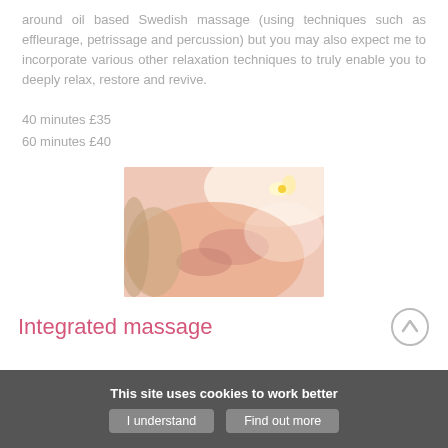around oil based Swedish massage (using techniques such as effleurage, petrissage and percussion) but you may also expect me to incorporate various other relaxation techniques to truly enable you to deeply relax, restore and revive.
40 minutes £35
60 minutes £40
[Figure (photo): A person receiving a neck/shoulder massage, lying down with a flower visible in the background, warm skin tones]
Integrated massage
This site uses cookies to work better
I understand | Find out more